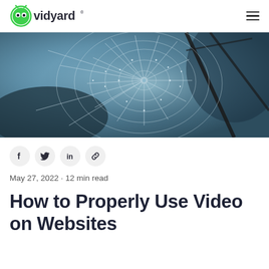vidyard
[Figure (photo): Close-up photo of a spider web covered in water droplets with dark branch in the background, blue-grey toned]
[Figure (infographic): Social share icons: Facebook, Twitter, LinkedIn, Link]
May 27, 2022 · 12 min read
How to Properly Use Video on Websites